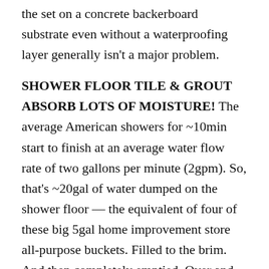the set on a concrete backerboard substrate even without a waterproofing layer generally isn't a major problem.
SHOWER FLOOR TILE & GROUT ABSORB LOTS OF MOISTURE! The average American showers for ~10min start to finish at an average water flow rate of two gallons per minute (2gpm). So, that's ~20gal of water dumped on the shower floor — the equivalent of four of these big 5gal home improvement store all-purpose buckets. Filled to the brim. And then completely emptied. Over and over again.
Think about this analogy. Your home probably has a